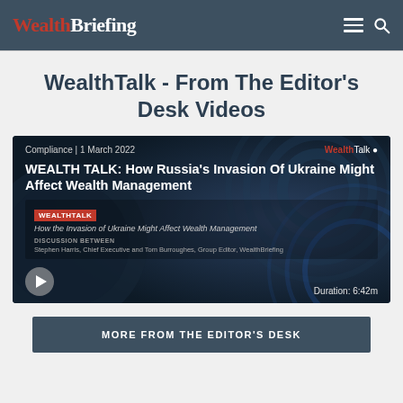WealthBriefing
WealthTalk - From The Editor's Desk Videos
[Figure (screenshot): Video thumbnail for WealthTalk episode: 'WEALTH TALK: How Russia's Invasion Of Ukraine Might Affect Wealth Management'. Shows dark background with circular graphic elements, WealthTalk logo top right, category 'Compliance | 1 March 2022', play button bottom left, Duration: 6:42m bottom right. Inner card shows WEALTHTALK badge, subtitle 'How the Invasion of Ukraine Might Affect Wealth Management', DISCUSSION BETWEEN Stephen Harris, Chief Executive and Tom Burroughes, Group Editor, WealthBriefing.]
MORE FROM THE EDITOR'S DESK